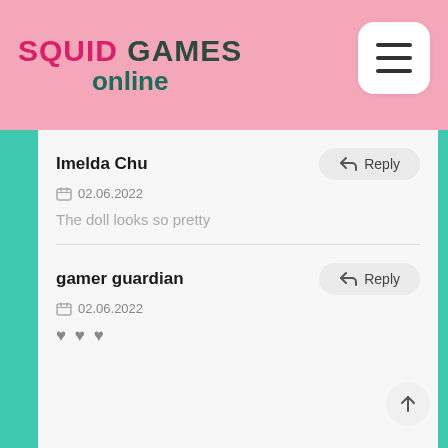SQUID GAMES online
Imelda Chu
02.06.2022
The doll looks so pretty
gamer guardian
02.06.2022
♥♥♥